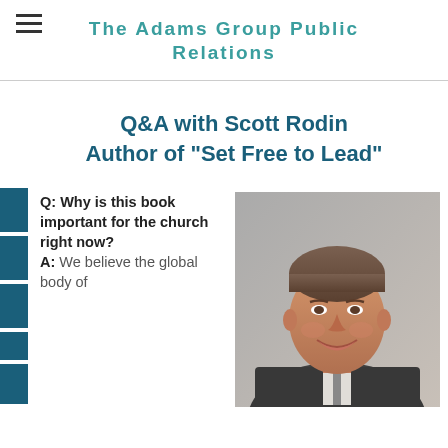The Adams Group Public Relations
Q&A with Scott Rodin
Author of "Set Free to Lead"
Q: Why is this book important for the church right now? A: We believe the global body of
[Figure (photo): Headshot of a smiling middle-aged man in a suit, photographed against a grey background]